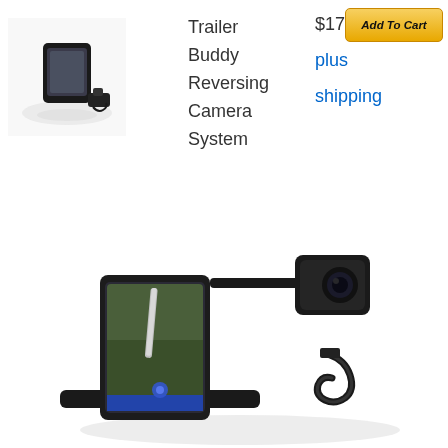[Figure (photo): Small thumbnail photo of Trailer Buddy Reversing Camera System product]
Trailer
Buddy
Reversing
Camera
System
$174.99
plus
shipping
[Figure (other): Add To Cart button]
[Figure (photo): Large product photo of Trailer Buddy Reversing Camera System showing a smartphone mounted on a pole with a rear-view camera and charging cable]